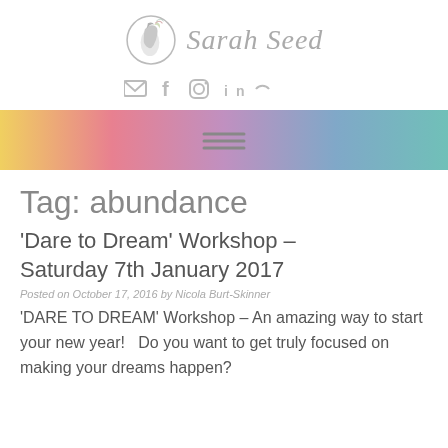[Figure (logo): Sarah Seed logo with circular face silhouette icon and cursive text 'Sarah Seed']
[Figure (infographic): Social media icons: envelope, facebook, instagram, linkedin, and one partially visible]
[Figure (infographic): Rainbow gradient navigation bar with hamburger menu icon]
Tag: abundance
'Dare to Dream' Workshop – Saturday 7th January 2017
Posted on October 17, 2016 by Nicola Burt-Skinner
'DARE TO DREAM' Workshop – An amazing way to start your new year!  Do you want to get truly focused on making your dreams happen?